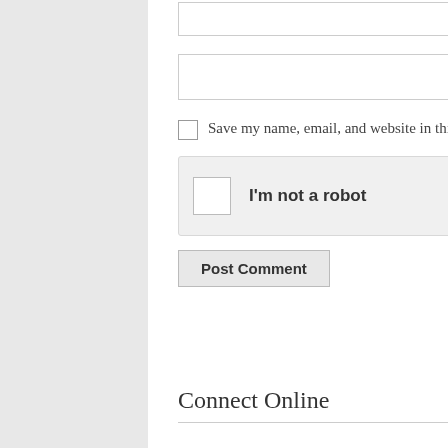[Figure (screenshot): Email input field (partially visible at top) with label 'Email' to the right]
[Figure (screenshot): Website input field with label 'Website' to the right]
Save my name, email, and website in this browser for the next time I comment.
[Figure (screenshot): reCAPTCHA widget with checkbox, 'I'm not a robot' text, reCAPTCHA logo, and Privacy/Terms links]
[Figure (screenshot): Post Comment button]
Connect Online